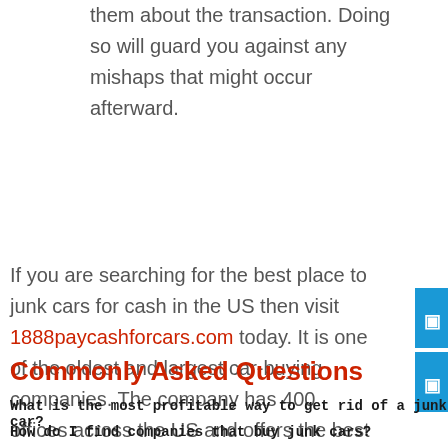them about the transaction. Doing so will guard you against any mishaps that might occur afterward.
If you are searching for the best place to junk cars for cash in the US then visit 1888paycashforcars.com today. It is one of the oldest and largest car-buying companies. The company has 400 offices across the US and offers the best deals to its clients.
Commonly Asked Questions
What is the most profitable way to get rid of a junk car?
How do I find companies that buy junk cars?